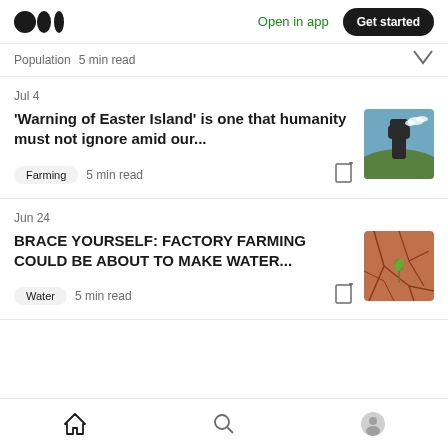Open in app  Get started
Population  5 min read
Jul 4
'Warning of Easter Island' is one that humanity must not ignore amid our...
Farming  5 min read
[Figure (photo): Moai statue on Easter Island hillside]
Jun 24
BRACE YOURSELF: FACTORY FARMING COULD BE ABOUT TO MAKE WATER...
Water  5 min read
[Figure (photo): Cracked dry earth with small green sprout]
Home  Search  Profile